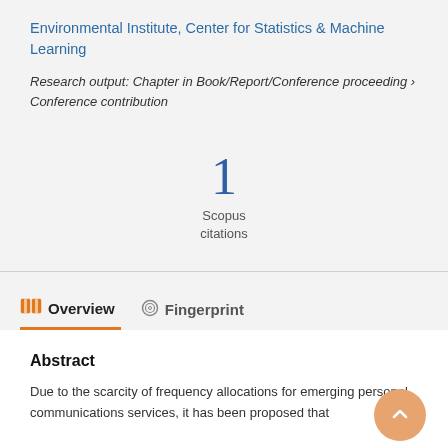Environmental Institute, Center for Statistics & Machine Learning
Research output: Chapter in Book/Report/Conference proceeding › Conference contribution
[Figure (infographic): Scopus citations count showing the number 1 in large blue text with 'Scopus citations' label below]
Overview
Fingerprint
Abstract
Due to the scarcity of frequency allocations for emerging personal communications services, it has been proposed that